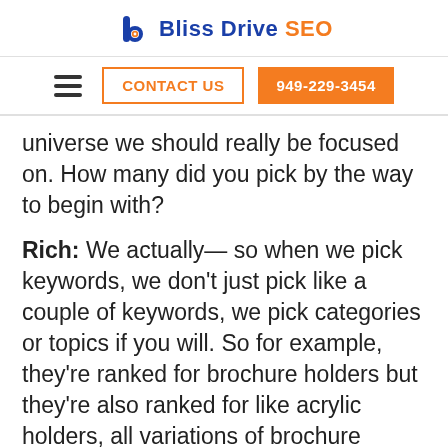Bliss Drive SEO
CONTACT US | 949-229-3454
universe we should really be focused on. How many did you pick by the way to begin with?
Rich: We actually— so when we pick keywords, we don't just pick like a couple of keywords, we pick categories or topics if you will. So for example, they're ranked for brochure holders but they're also ranked for like acrylic holders, all variations of brochure holders. That makes sense? So